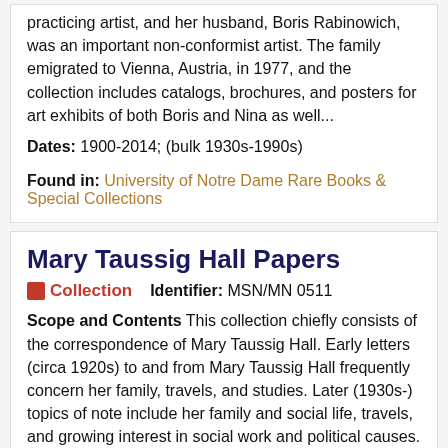practicing artist, and her husband, Boris Rabinowich, was an important non-conformist artist. The family emigrated to Vienna, Austria, in 1977, and the collection includes catalogs, brochures, and posters for art exhibits of both Boris and Nina as well... Dates: 1900-2014; (bulk 1930s-1990s)
Found in: University of Notre Dame Rare Books & Special Collections
Mary Taussig Hall Papers
Collection   Identifier: MSN/MN 0511
Scope and Contents This collection chiefly consists of the correspondence of Mary Taussig Hall. Early letters (circa 1920s) to and from Mary Taussig Hall frequently concern her family, travels, and studies. Later (1930s-) topics of note include her family and social life, travels, and growing interest in social work and political causes. Most correspondence is with family and friends though professional correspondence is